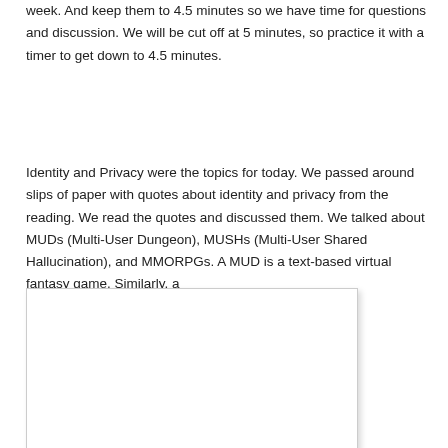week. And keep them to 4.5 minutes so we have time for questions and discussion. We will be cut off at 5 minutes, so practice it with a timer to get down to 4.5 minutes.
Identity and Privacy were the topics for today. We passed around slips of paper with quotes about identity and privacy from the reading. We read the quotes and discussed them. We talked about MUDs (Multi-User Dungeon), MUSHs (Multi-User Shared Hallucination), and MMORPGs. A MUD is a text-based virtual fantasy game. Similarly, a
[Figure (other): A white rectangular image box with a light border and drop shadow, appearing to contain an image that is not fully visible.]